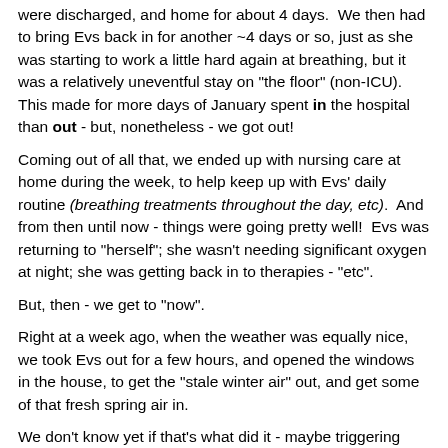were discharged, and home for about 4 days.  We then had to bring Evs back in for another ~4 days or so, just as she was starting to work a little hard again at breathing, but it was a relatively uneventful stay on "the floor" (non-ICU).  This made for more days of January spent in the hospital than out - but, nonetheless - we got out!
Coming out of all that, we ended up with nursing care at home during the week, to help keep up with Evs' daily routine (breathing treatments throughout the day, etc).  And from then until now - things were going pretty well!  Evs was returning to "herself"; she wasn't needing significant oxygen at night; she was getting back in to therapies - "etc".
But, then - we get to "now".
Right at a week ago, when the weather was equally nice, we took Evs out for a few hours, and opened the windows in the house, to get the "stale winter air" out, and get some of that fresh spring air in.
We don't know yet if that's what did it - maybe triggering